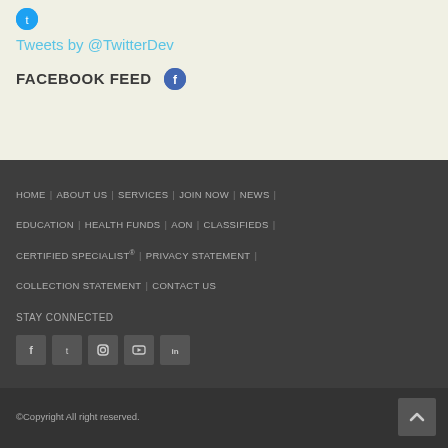Tweets by @TwitterDev
FACEBOOK FEED
HOME | ABOUT US | SERVICES | JOIN NOW | NEWS | EDUCATION | HEALTH FUNDS | AON | CLASSIFIEDS | CERTIFIED SPECIALIST® | PRIVACY STATEMENT | COLLECTION STATEMENT | CONTACT US
STAY CONNECTED
[Figure (other): Social media icon buttons: Facebook, Twitter, Instagram, YouTube, LinkedIn]
©Copyright All right reserved.